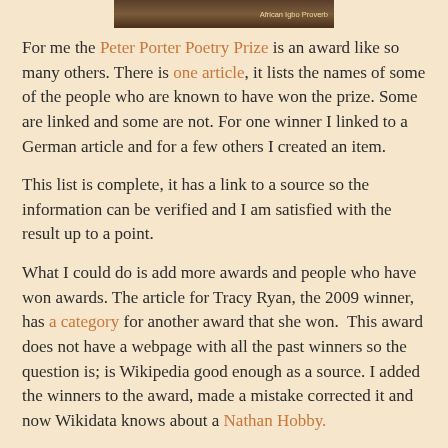[Figure (photo): Partial image strip at top, dark brown tones with caption 'African Igbo Proverb' at right]
African Igbo Proverb
For me the Peter Porter Poetry Prize is an award like so many others. There is one article, it lists the names of some of the people who are known to have won the prize. Some are linked and some are not. For one winner I linked to a German article and for a few others I created an item.
This list is complete, it has a link to a source so the information can be verified and I am satisfied with the result up to a point.
What I could do is add more awards and people who have won awards. The article for Tracy Ryan, the 2009 winner, has a category for another award that she won.  This award does not have a webpage with all the past winners so the question is; is Wikipedia good enough as a source. I added the winners to the award, made a mistake corrected it and now Wikidata knows about a Nathan Hobby.
Jay Martin is the 2016 winner of the T.A.G. Hungerford Award. It has a source but it is extremely likely that this will disappear in 2017. The problem I have is that I want to see